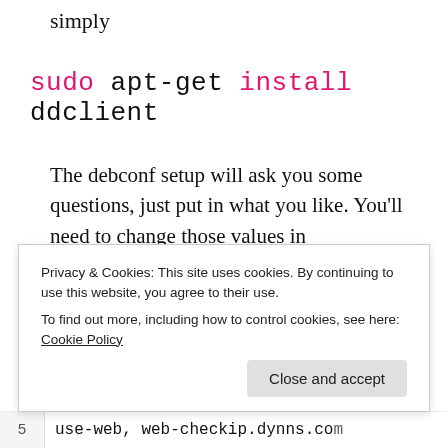simply
sudo apt-get install ddclient
The debconf setup will ask you some questions, just put in what you like. You'll need to change those values in /etc/ddclient.conf anyway.
MODIFY THE DDCLIENT.CONF FILE
My /etc/ddclient.conf looks like this
Privacy & Cookies: This site uses cookies. By continuing to use this website, you agree to their use.
To find out more, including how to control cookies, see here: Cookie Policy
Close and accept
5   use-web, web-checkip.dynns.com